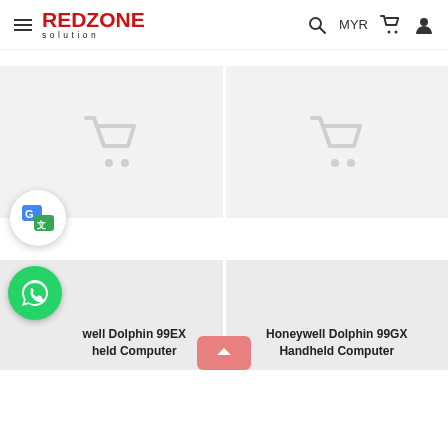RedZone Solution — MYR
[Figure (screenshot): E-commerce website header with hamburger menu, RedZone Solution logo (red and black), search icon, MYR currency selector, cart icon, and user profile icon]
[Figure (photo): Product card placeholder with grey background and faint shopping cart icon (left)]
[Figure (photo): Product card placeholder with grey background and faint shopping cart icon (right)]
Honeywell Dolphin 99EX Handheld Computer
Honeywell Dolphin 99GX Handheld Computer